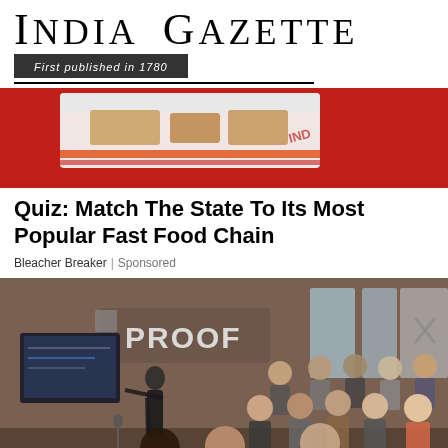India Gazette — First published in 1780
[Figure (photo): Close-up photo of a fast food box/packaging with red and white colors, food visible inside, on a red background]
Quiz: Match The State To Its Most Popular Fast Food Chain
Bleacher Breaker | Sponsored
[Figure (photo): Indoor event photo showing a presenter in black pointing at a screen in a brick-walled venue labeled PROOF, with an audience of approximately 20 people seated and listening]